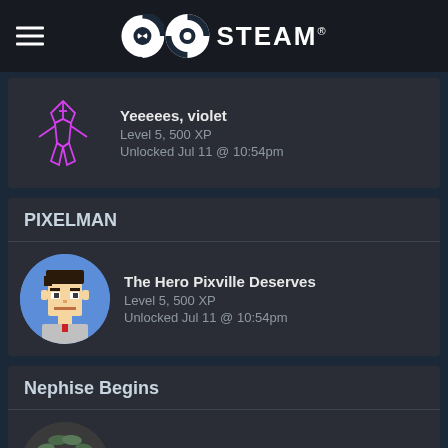STEAM
Yeeeees, violet
Level 5, 500 XP
Unlocked Jul 11 @ 10:54pm
PIXELMAN
The Hero Pixville Deserves
Level 5, 500 XP
Unlocked Jul 11 @ 10:54pm
Nephise Begins
Found a mushroom